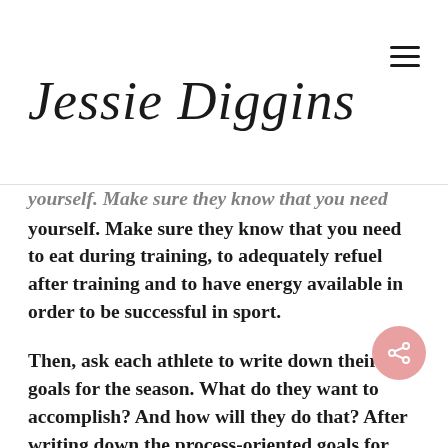Jessie Diggins
...yourself. Make sure they know that you need to eat during training, to adequately refuel after training and to have energy available in order to be successful in sport.
Then, ask each athlete to write down their goals for the season. What do they want to accomplish? And how will they do that? After writing down the process-oriented goals for how they will reach their big dreams, ask them to imagine how food plays into that. If they need to do intervals and strength training twice a week to be strong and fast in sport, how might nutrition help them achieve...